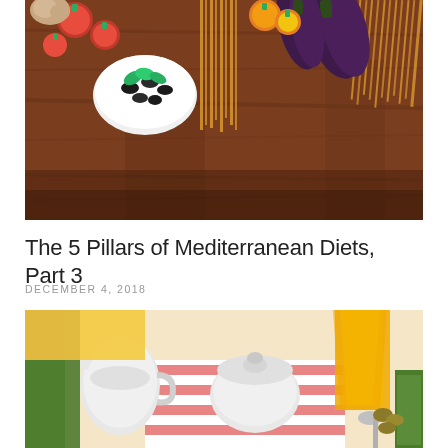[Figure (photo): Overhead flat-lay photo of Mediterranean food ingredients on a dark wooden table: pasta/spaghetti bundles, eggplant, tomatoes, olives in a white bowl with basil, garlic, and other vegetables]
The 5 Pillars of Mediterranean Diets, Part 3
DECEMBER 4, 2018
[Figure (photo): Close-up photo of a table setting with white ceramic creamer and sugar bowl, a glass of orange juice, green olives, silverware, on a red and white striped cloth]